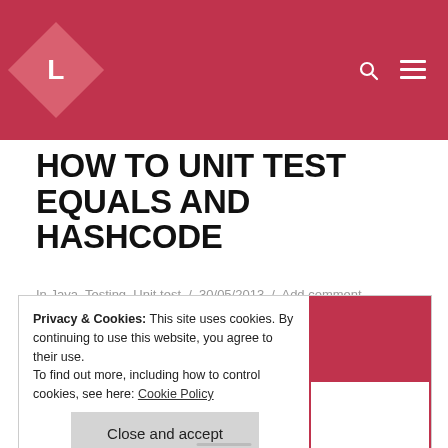L
HOW TO UNIT TEST EQUALS AND HASHCODE
In Java, Testing, Unit test / 30/05/2013 / Add comment
The equals and hashcode methodes are simple to test with JQNO.
Privacy & Cookies: This site uses cookies. By continuing to use this website, you agree to their use.
To find out more, including how to control cookies, see here: Cookie Policy
Close and accept